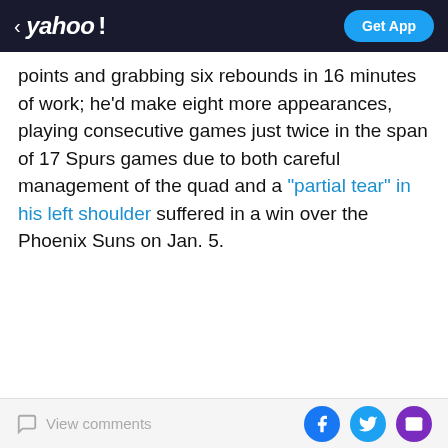yahoo! | Get App
points and grabbing six rebounds in 16 minutes of work; he'd make eight more appearances, playing consecutive games just twice in the span of 17 Spurs games due to both careful management of the quad and a "partial tear" in his left shoulder suffered in a win over the Phoenix Suns on Jan. 5.
[Figure (photo): Advertisement for Yahoo Fantasy football featuring a man in a white shirt with arms outstretched, with Yahoo! fantasy logo and 'Play fantasy football' text below]
View comments | Facebook | Twitter | Email